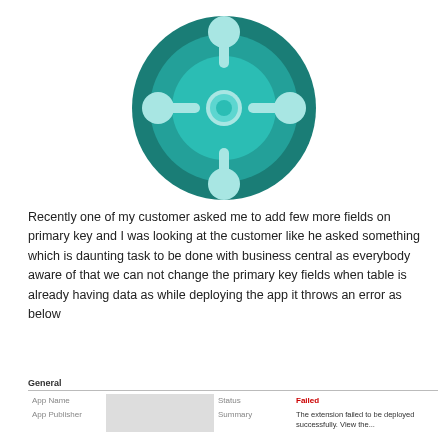[Figure (logo): Business Central style hub-and-spoke circular logo in teal/cyan colors]
Recently one of my customer asked me to add few more fields on primary key and I was looking at the customer like he asked something which is daunting task to be done with business central as everybody aware of that we can not change the primary key fields when table is already having data as while deploying the app it throws an error as below
[Figure (screenshot): Business Central extension deployment error screenshot showing General section with fields: App Name (redacted), Status: Failed, App Publisher (redacted), Summary: The extension failed to be deployed successfully. View the...]